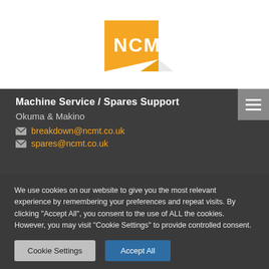[Figure (logo): NCMT logo — yellow angular shape with white NCMT text]
Machine Service / Spares Support
Okuma & Makino
breakdown@ncmt.co.uk
spares@ncmt.co.uk
We use cookies on our website to give you the most relevant experience by remembering your preferences and repeat visits. By clicking "Accept All", you consent to the use of ALL the cookies. However, you may visit "Cookie Settings" to provide controlled consent.
Cookie Settings
Accept All